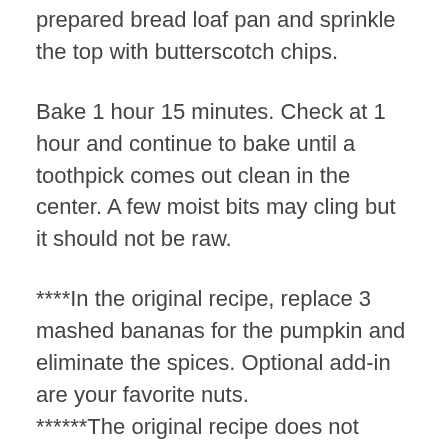prepared bread loaf pan and sprinkle the top with butterscotch chips.
Bake 1 hour 15 minutes. Check at 1 hour and continue to bake until a toothpick comes out clean in the center. A few moist bits may cling but it should not be raw.
****In the original recipe, replace 3 mashed bananas for the pumpkin and eliminate the spices. Optional add-in are your favorite nuts. ******The original recipe does not